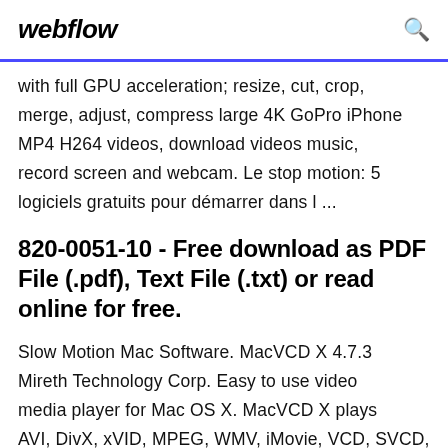webflow
with full GPU acceleration; resize, cut, crop, merge, adjust, compress large 4K GoPro iPhone MP4 H264 videos, download videos music, record screen and webcam. Le stop motion: 5 logiciels gratuits pour démarrer dans l ...
820-0051-10 - Free download as PDF File (.pdf), Text File (.txt) or read online for free.
Slow Motion Mac Software. MacVCD X 4.7.3 Mireth Technology Corp. Easy to use video media player for Mac OS X. MacVCD X plays AVI, DivX, xVID, MPEG, WMV, iMovie, VCD, SVCD, video, Quicktime movies and more. Free